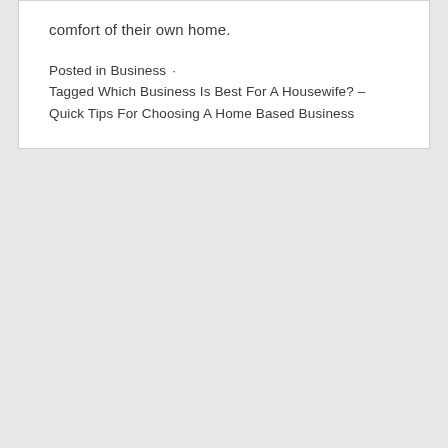comfort of their own home.
Posted in Business · Tagged Which Business Is Best For A Housewife? – Quick Tips For Choosing A Home Based Business